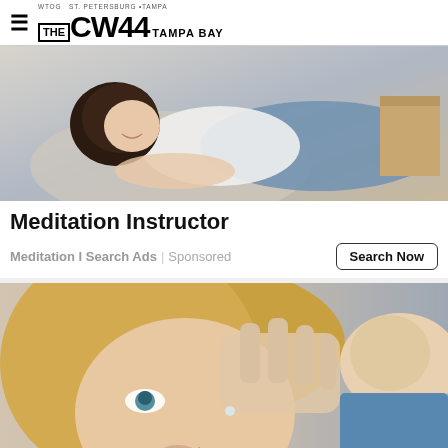WTOG ST. PETERSBURG · TAMPA — THE CW44 TAMPA BAY
[Figure (photo): Young woman lying on a couch smiling, wearing a white t-shirt and blue jeans, with a pillow and boxes in background.]
Meditation Instructor
Meditation I Search Ads | Sponsored
[Figure (photo): Close-up of an older blonde woman having eye drops administered by a person wearing a blue sweater.]